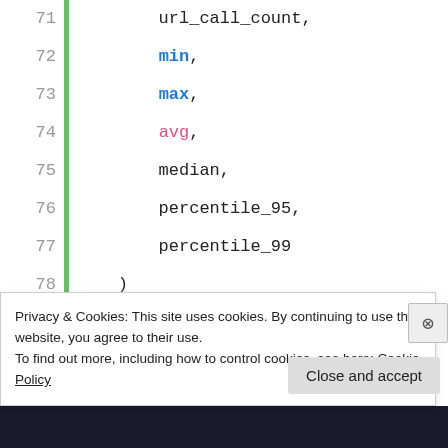[Figure (screenshot): Code editor screenshot showing SQL-like query lines 71-87 with syntax highlighting. Line numbers on left, green vertical bar, code with blue bold keywords (min, max, select, MIN, MAX), pink keywords (avg, count, AVG), and black regular code text.]
Privacy & Cookies: This site uses cookies. By continuing to use this website, you agree to their use.
To find out more, including how to control cookies, see here: Cookie Policy
Close and accept